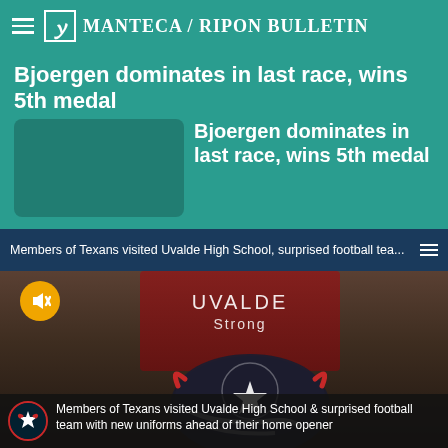Manteca / Ripon Bulletin
Bjoergen dominates in last race, wins 5th medal
[Figure (photo): Article card with placeholder image for Bjoergen story]
Bjoergen dominates in last race, wins 5th medal
Members of Texans visited Uvalde High School, surprised football tea...
[Figure (photo): Person wearing Uvalde Strong red shirt holding a Houston Texans football helmet outdoors]
Members of Texans visited Uvalde High School & surprised football team with new uniforms ahead of their home opener